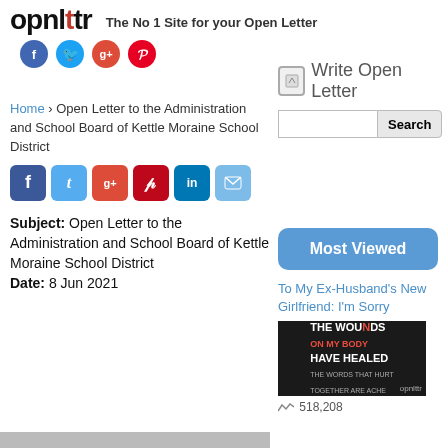opnlttr — The No 1 Site for your Open Letter
[Figure (logo): opnlttr logo with social media icons (Facebook, Twitter, Google+, Pinterest)]
[Figure (other): Write Open Letter button with search input and Search button]
Home › Open Letter to the Administration and School Board of Kettle Moraine School District
[Figure (other): Most Viewed button (blue rounded rectangle)]
[Figure (other): Social share icons: Facebook, Twitter, Google+, Pinterest, LinkedIn, Email]
Subject: Open Letter to the Administration and School Board of Kettle Moraine School District
Date: 8 Jun 2021
To My Ex-Husband's New Girlfriend: I'm Sorry
[Figure (photo): Dark image with text 'THE WOUNDS ON MY BODY HAVE HEALED' with opnlttr watermark]
518,208